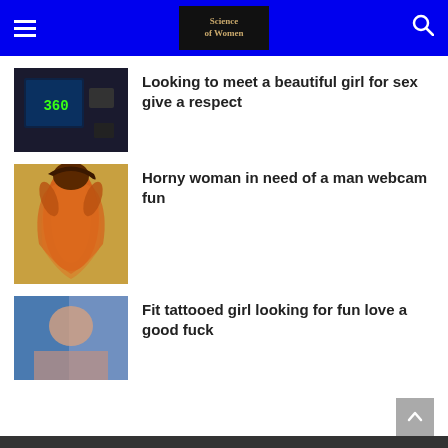Science of Women
Looking to meet a beautiful girl for sex give a respect
Horny woman in need of a man webcam fun
Fit tattooed girl looking for fun love a good fuck